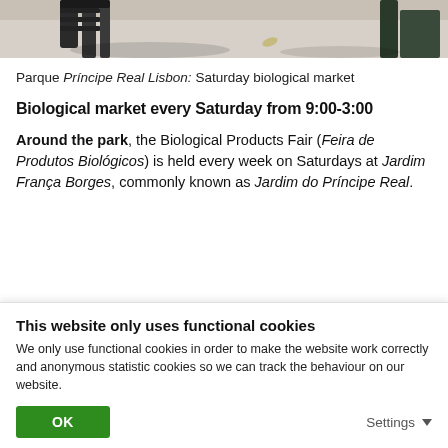[Figure (photo): Partial outdoor photo showing a park scene with pavement and dark metal chair/furniture legs, with shadow visible. Top portion of image.]
Parque Príncipe Real Lisbon: Saturday biological market
Biological market every Saturday from 9:00-3:00
Around the park, the Biological Products Fair (Feira de Produtos Biológicos) is held every week on Saturdays at Jardim França Borges, commonly known as Jardim do Príncipe Real.
This website only uses functional cookies
We only use functional cookies in order to make the website work correctly and anonymous statistic cookies so we can track the behaviour on our website.